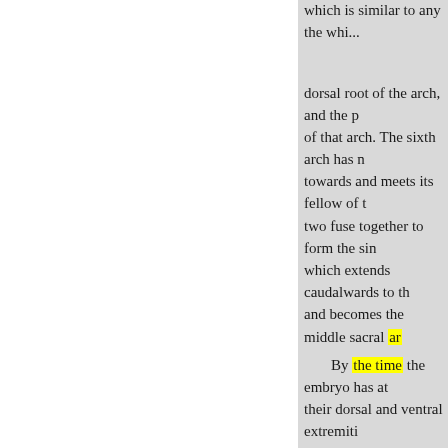which is similar to any the wh...
dorsal root of the arch, and the p... of that arch. The sixth arch has n... towards and meets its fellow of t... two fuse together to form the sin... which extends caudalwards to th... and becomes the middle sacral ar...
By the time the embryo has at... their dorsal and ventral extremiti...
3rd arches
4th arches
6th arches
been formed. It runs from the ve... persists for a short time, and ther...
At a still later period the dorsa... and sixth arches on the right side...